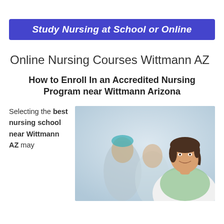Study Nursing at School or Online
Online Nursing Courses Wittmann AZ
How to Enroll In an Accredited Nursing Program near Wittmann Arizona
Selecting the best nursing school near Wittmann AZ may
[Figure (photo): Female nurse or medical professional smiling at camera in a clinical setting, with two other medical professionals in the background wearing scrubs and a surgical cap]